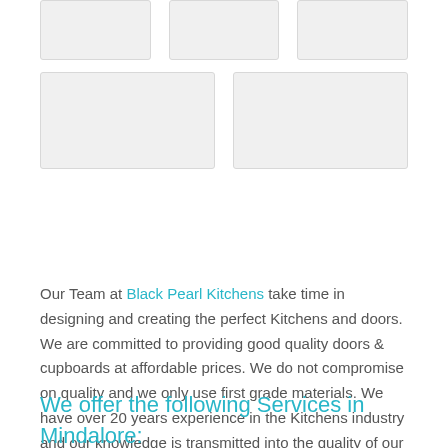[Figure (photo): Grid of 5 placeholder image boxes in two rows: top row has 3 boxes, bottom row has 2 boxes]
Our Team at Black Pearl Kitchens take time in designing and creating the perfect Kitchens and doors. We are committed to providing good quality doors & cupboards at affordable prices. We do not compromise on quality and we only use first grade materials. We have over 20 years experience in the Kitchens industry and our knowledge is transmitted into the quality of our work and products.
We offer the following Services in Mindalore: